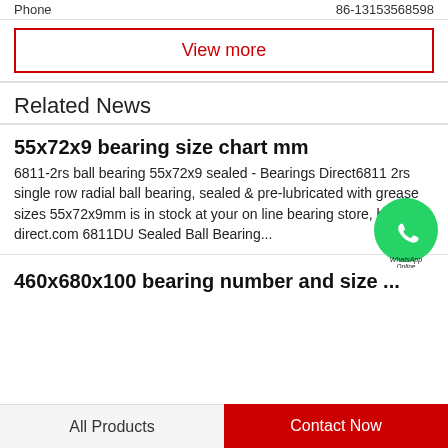Phone  86-13153568598
View more
Related News
55x72x9 bearing size chart mm
6811-2rs ball bearing 55x72x9 sealed - Bearings Direct6811 2rs single row radial ball bearing, sealed & pre-lubricated with grease sizes 55x72x9mm is in stock at your on line bearing store, bearings direct.com 6811DU Sealed Ball Bearing...
460x680x100 bearing number and size ...
All Products   Contact Now